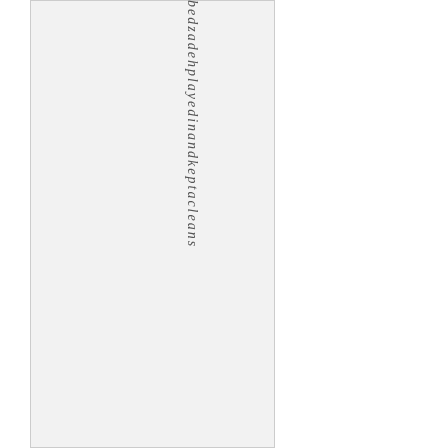[Figure (other): A light gray rectangular panel occupying the left portion of the page]
bedzadehplayedina ndkeptacleans